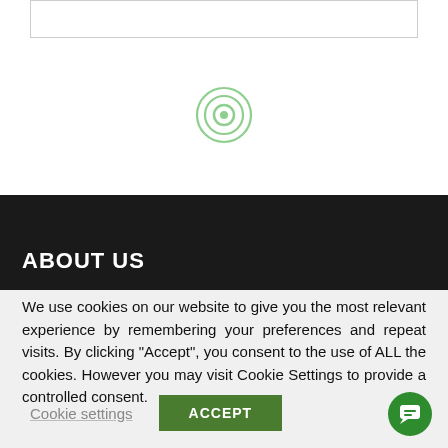[Figure (screenshot): Top white section with a bordered input box and a circular record/target icon in the center]
ABOUT US
We use cookies on our website to give you the most relevant experience by remembering your preferences and repeat visits. By clicking “Accept”, you consent to the use of ALL the cookies. However you may visit Cookie Settings to provide a controlled consent.
Cookie settings   ACCEPT